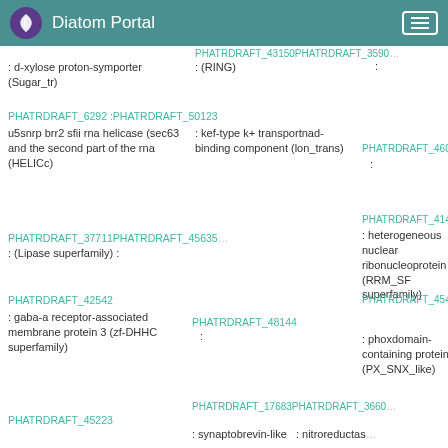Diatom Portal
PHATRDRAFT_43150 PHATRDRAFT_35909
: d-xylose proton-symporter (Sugar_tr) : (RING) :
PHATRDRAFT_6292 : PHATRDRAFT_50123
u5snrp brr2 sfii rna helicase (sec63 and the second part of the rna (HELICc) : kef-type k+ transportnad-binding component (lon_trans)
PHATRDRAFT_46030
PHATRDRAFT_41450
: heterogeneous nuclear ribonucleoprotein (RRM_SF superfamily)
PHATRDRAFT_37711 PHATRDRAFT_45635
: (Lipase superfamily) :
PHATRDRAFT_42542
: gaba-a receptor-associated membrane protein 3 (zf-DHHC superfamily)
PHATRDRAFT_54010
PHATRDRAFT_48144 : phoxdomain-containing protein (PX_SNX_like)
PHATRDRAFT_17683 PHATRDRAFT_36608
PHATRDRAFT_45223
: synaptobrevin-like : nitroreductase